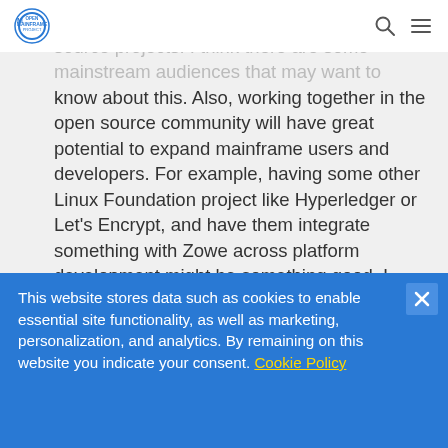Open Mainframe Project
especially for zones since most are on open source projects. I think there are some mainstream audiences that may want to know about this. Also, working together in the open source community will have great potential to expand mainframe users and developers. For example, having some other Linux Foundation project like Hyperledger or Let's Encrypt, and have them integrate something with Zowe across platform development might be something good. I would love to see that happen as a personal user. And I think there will be a lot of development and collaboration on the non-mainframe side.
This website stores data such as cookies to enable essential site functionality, as well as marketing, personalization, and analytics. By remaining on this website you indicate your consent. Cookie Policy